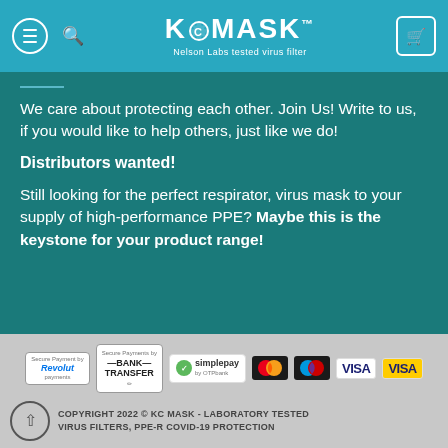KC MASK™ — Nelson Labs tested virus filter
We care about protecting each other. Join Us! Write to us, if you would like to help others, just like we do!
Distributors wanted!
Still looking for the perfect respirator, virus mask to your supply of high-performance PPE? Maybe this is the keystone for your product range!
[Figure (logo): Payment method logos: Revolut, Bank Transfer, SimplePay by OTP, Mastercard, Maestro, VISA, VISA (gold)]
COPYRIGHT 2022 © KC MASK - LABORATORY TESTED VIRUS FILTERS, PPE-R COVID-19 PROTECTION